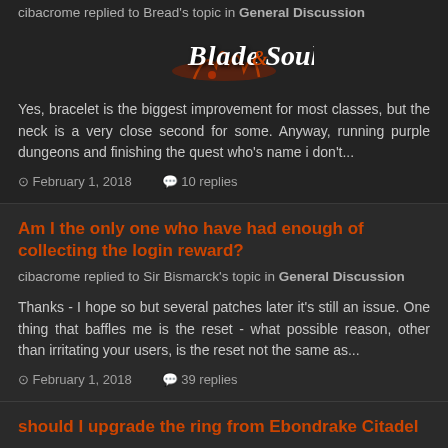cibacrome replied to Bread's topic in General Discussion
[Figure (logo): Blade & Soul game logo with stylized text and orange/red flame accent]
Yes, bracelet is the biggest improvement for most classes, but the neck is a very close second for some. Anyway, running purple dungeons and finishing the quest who's name i don't...
February 1, 2018   10 replies
Am I the only one who have had enough of collecting the login reward?
cibacrome replied to Sir Bismarck's topic in General Discussion
Thanks - I hope so but several patches later it's still an issue. One thing that baffles me is the reset - what possible reason, other than irritating your users, is the reset not the same as...
February 1, 2018   39 replies
should I upgrade the ring from Ebondrake Citadel